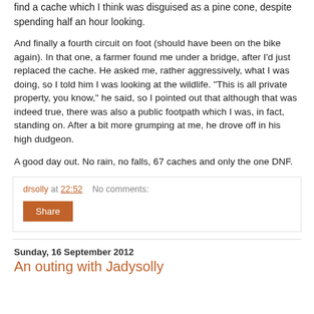find a cache which I think was disguised as a pine cone, despite spending half an hour looking.
And finally a fourth circuit on foot (should have been on the bike again). In that one, a farmer found me under a bridge, after I'd just replaced the cache. He asked me, rather aggressively, what I was doing, so I told him I was looking at the wildlife. "This is all private property, you know," he said, so I pointed out that although that was indeed true, there was also a public footpath which I was, in fact, standing on. After a bit more grumping at me, he drove off in his high dudgeon.
A good day out. No rain, no falls, 67 caches and only the one DNF.
drsolly at 22:52    No comments:
Share
Sunday, 16 September 2012
An outing with Jadvsolly